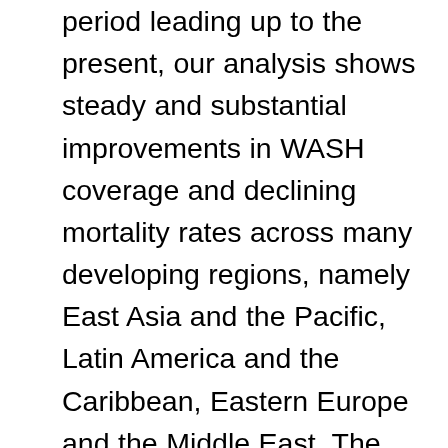period leading up to the present, our analysis shows steady and substantial improvements in WASH coverage and declining mortality rates across many developing regions, namely East Asia and the Pacific, Latin America and the Caribbean, Eastern Europe and the Middle East. The economic value of potential health gains from eliminating mortality attributable to poor water and sanitation has decreased substantially, and in the future will therefore be modest in these regions. Where WASH-related deaths remain high (in parts of South Asia and much of Sub-Saharan Africa), if current trends continue, it will be several decades before economic development and investments in improved water and sanitation will result in the capture of